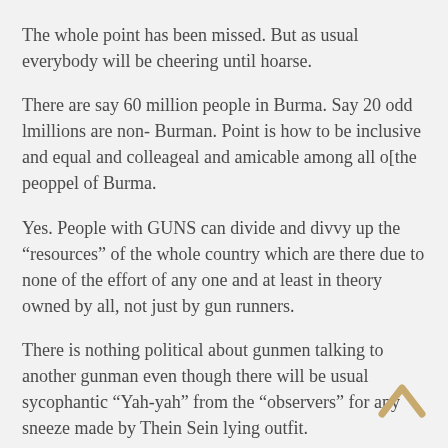The whole point has been missed. But as usual everybody will be cheering until hoarse.
There are say 60 million people in Burma. Say 20 odd lmillions are non- Burman. Point is how to be inclusive and equal and colleageal and amicable among all o[the peoppel of Burma.
Yes. People with GUNS can divide and divvy up the “resources” of the whole country which are there due to none of the effort of any one and at least in theory owned by all, not just by gun runners.
There is nothing political about gunmen talking to another gunman even though there will be usual sycophantic “Yah-yah” from the “observers” for any sneeze made by Thein Sein lying outfit.